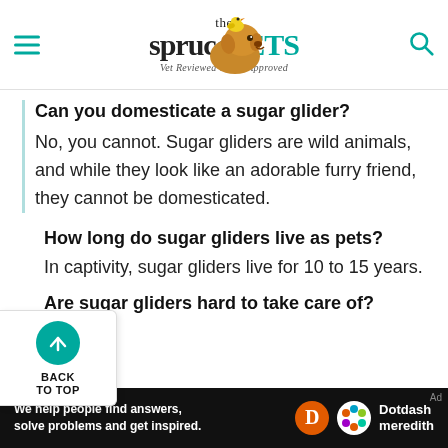the spruce PETS — Vet Reviewed & Pet Approved
Can you domesticate a sugar glider?
No, you cannot. Sugar gliders are wild animals, and while they look like an adorable furry friend, they cannot be domesticated.
How long do sugar gliders live as pets?
In captivity, sugar gliders live for 10 to 15 years.
Are sugar gliders hard to take care of?
We help people find answers, solve problems and get inspired. — Dotdash meredith